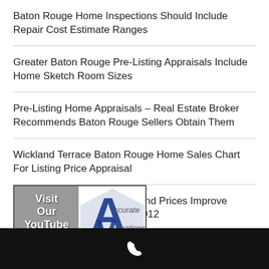Baton Rouge Home Inspections Should Include Repair Cost Estimate Ranges
Greater Baton Rouge Pre-Listing Appraisals Include Home Sketch Room Sizes
Pre-Listing Home Appraisals – Real Estate Broker Recommends Baton Rouge Sellers Obtain Them
Wickland Terrace Baton Rouge Home Sales Chart For Listing Price Appraisal
Baton Rouge Homes Sales and Prices Improve Dramatically In September 2012
[Figure (logo): Visit Our YouTube Channel banner with Accurate Valuations AVC logo]
Phone contact bar with phone icon